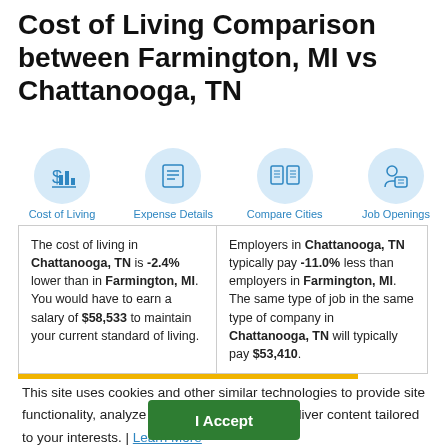Cost of Living Comparison between Farmington, MI vs Chattanooga, TN
[Figure (infographic): Four navigation icons in blue circles: Cost of Living (dollar sign chart), Expense Details (document), Compare Cities (side-by-side document), Job Openings (person with document)]
The cost of living in Chattanooga, TN is -2.4% lower than in Farmington, MI. You would have to earn a salary of $58,533 to maintain your current standard of living.
Employers in Chattanooga, TN typically pay -11.0% less than employers in Farmington, MI. The same type of job in the same type of company in Chattanooga, TN will typically pay $53,410.
This site uses cookies and other similar technologies to provide site functionality, analyze traffic and usage, and deliver content tailored to your interests. | Learn More
I Accept